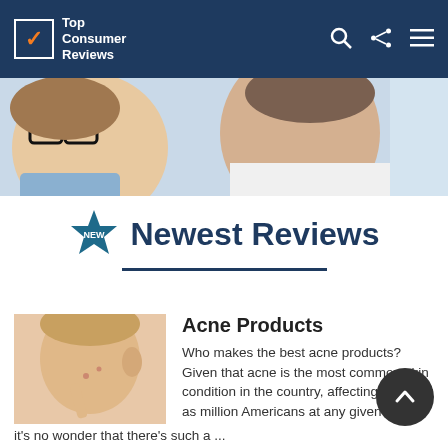Top Consumer Reviews
[Figure (photo): Hero banner photo showing two people, a woman with glasses on the left and a man in a white shirt on the right, looking at something off-camera]
Newest Reviews
[Figure (photo): Photo of a person touching their cheek/chin area, showing acne on the skin]
Acne Products
Who makes the best acne products? Given that acne is the most common skin condition in the country, affecting as many as million Americans at any given time, it's no wonder that there's such a ...